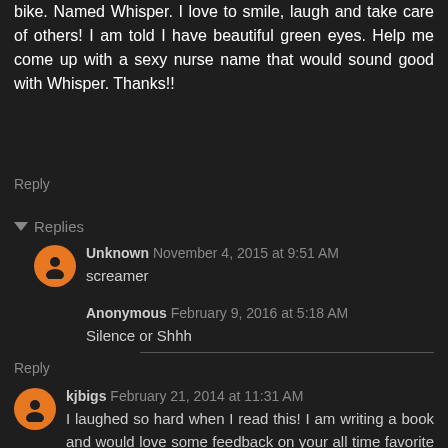bike. Named Whisper. I love to smile, laugh and take care of others! I am told I have beautiful green eyes. Help me come up with a sexy nurse name that would sound good with Whisper. Thanks!!
Reply
Replies
Unknown November 4, 2015 at 9:51 AM
screamer
Anonymous February 9, 2016 at 5:18 AM
Silence or Shhh
Reply
kjbigs February 21, 2014 at 11:31 AM
I laughed so hard when I read this! I am writing a book and would love some feedback on your all time favorite biker